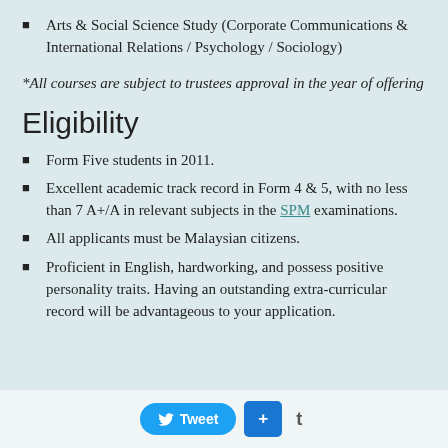Arts & Social Science Study (Corporate Communications & International Relations / Psychology / Sociology)
*All courses are subject to trustees approval in the year of offering
Eligibility
Form Five students in 2011.
Excellent academic track record in Form 4 & 5, with no less than 7 A+/A in relevant subjects in the SPM examinations.
All applicants must be Malaysian citizens.
Proficient in English, hardworking, and possess positive personality traits. Having an outstanding extra-curricular record will be advantageous to your application.